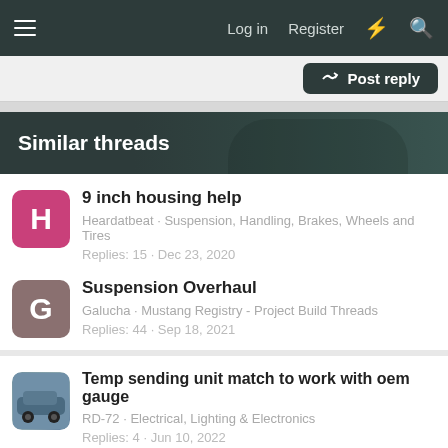Log in  Register
Post reply
Similar threads
9 inch housing help
Heardatbeat · Suspension, Handling, Brakes, Wheels and Tires
Replies: 15 · Dec 23, 2020
Suspension Overhaul
Galucha · Mustang Registry - Project Build Threads
Replies: 44 · Sep 18, 2021
Temp sending unit match to work with oem gauge
RD-72 · Electrical, Lighting & Electronics
Replies: 4 · Jun 10, 2022
[Figure (screenshot): Advertisement banner showing a game or app called 'Hold and Move' with figure icons, trees in background, and close/help buttons.]